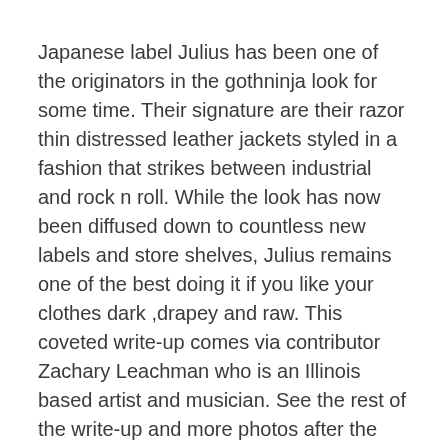Japanese label Julius has been one of the originators in the gothninja look for some time. Their signature are their razor thin distressed leather jackets styled in a fashion that strikes between industrial and rock n roll. While the look has now been diffused down to countless new labels and store shelves, Julius remains one of the best doing it if you like your clothes dark ,drapey and raw. This coveted write-up comes via contributor Zachary Leachman who is an Illinois based artist and musician. See the rest of the write-up and more photos after the jump.
I bought this Julius 7 piece second hand from